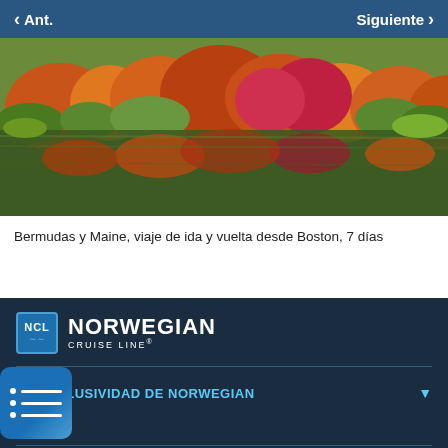Ant.   Siguiente
[Figure (photo): Aerial view of an autumn garden with colorful foliage trees — orange, red, yellow, and green — reflected in a still pond or lake. The scene is vibrant with fall colors.]
Bermudas y Maine, viaje de ida y vuelta desde Boston, 7 días
[Figure (logo): Norwegian Cruise Line logo — NCL boxed abbreviation with wave below, followed by NORWEGIAN CRUISE LINE in white text on dark navy background]
LA EXCLUSIVIDAD DE NORWEGIAN
[Figure (illustration): Blue square icon with white bullet list lines]
PRECIOS PARA EL CRUCERO